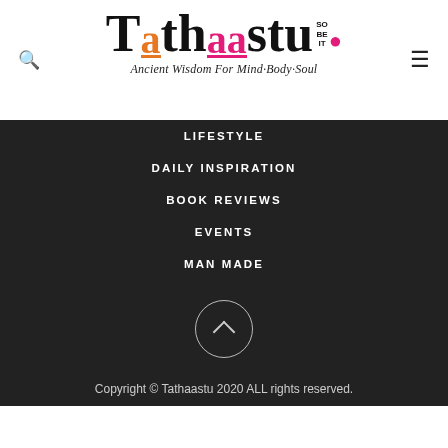[Figure (logo): Tathaastu logo with stylized text in black, orange, and pink. Tagline: Ancient Wisdom For Mind·Body·Soul. SO BE IT text and pink dot on right.]
LIFESTYLE
DAILY INSPIRATION
BOOK REVIEWS
EVENTS
MAN MADE
[Figure (other): Circle with upward chevron arrow, back to top button]
Copyright © Tathaastu 2020 ALL rights reserved.